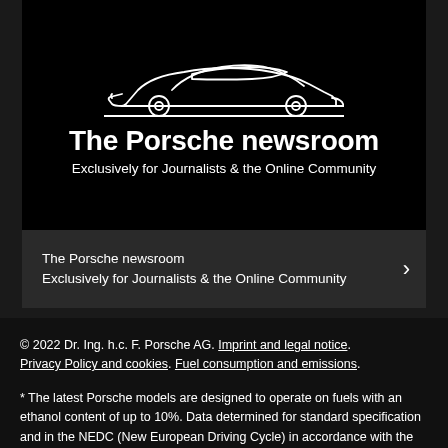[Figure (illustration): Dark banner with white line-art car silhouette (sports car profile), large bold white title 'The Porsche newsroom', and subtitle 'Exclusively for Journalists & the Online Community']
The Porsche newsroom
Exclusively for Journalists & the Online Community ›
© 2022 Dr. Ing. h.c. F. Porsche AG. Imprint and legal notice. Privacy Policy and cookies. Fuel consumption and emissions.
* The latest Porsche models are designed to operate on fuels with an ethanol content of up to 10%. Data determined for standard specification and in the NEDC (New European Driving Cycle) in accordance with the Euro 5 and Euro 6 (715/2007/EC and